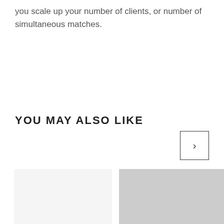you scale up your number of clients, or number of simultaneous matches.
YOU MAY ALSO LIKE
[Figure (other): Navigation arrow button pointing right, inside a square border]
[Figure (other): Light gray placeholder card image on the left]
[Figure (other): Medium gray placeholder card image on the right]